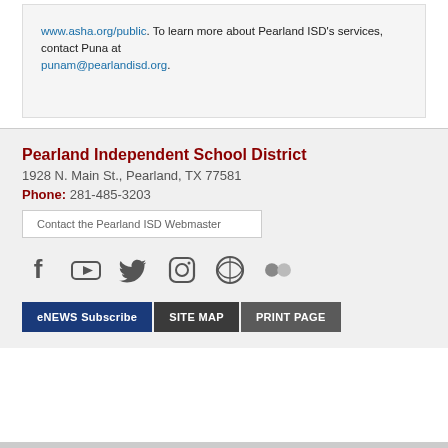www.asha.org/public. To learn more about Pearland ISD's services, contact Puna at punam@pearlandisd.org.
Pearland Independent School District
1928 N. Main St., Pearland, TX 77581
Phone: 281-485-3203
Contact the Pearland ISD Webmaster
[Figure (infographic): Social media icons row: Facebook, YouTube, Twitter, Instagram, WordPress, Flickr]
eNEWS Subscribe   SITE MAP   PRINT PAGE